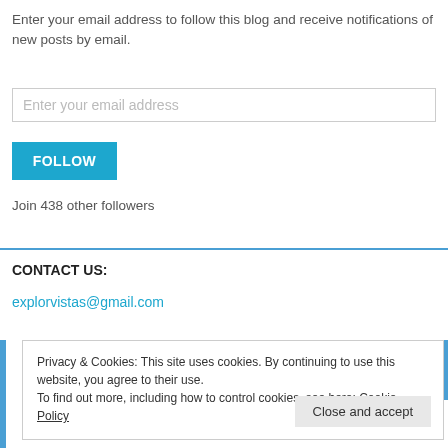Enter your email address to follow this blog and receive notifications of new posts by email.
[Figure (other): Email input field with placeholder text 'Enter your email address']
[Figure (other): FOLLOW button in teal/blue color]
Join 438 other followers
CONTACT US:
explorvistas@gmail.com
Privacy & Cookies: This site uses cookies. By continuing to use this website, you agree to their use. To find out more, including how to control cookies, see here: Cookie Policy